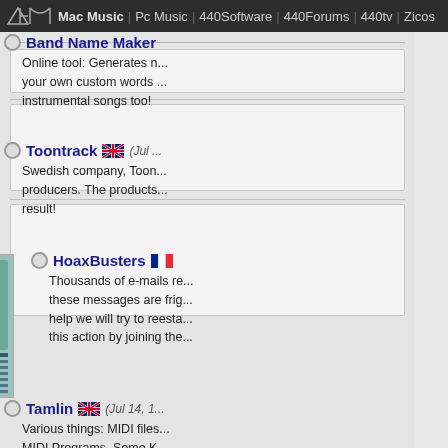440 | Mac Music | Pc Music | 440Software | 440Forums | 440tv | Zicos
[Figure (screenshot): Left sidebar with navigation boxes and grey input boxes]
Band Name Maker - Online tool: Generates names using your own custom words. Makes instrumental songs too!
Toontrack - Swedish company, Toontrack... producers. The products... result!
[Figure (screenshot): HoaxBusters website thumbnail screenshot]
HoaxBusters - Thousands of e-mails re... these messages are frig... help we will try to reesta... this action by joining the...
Tamlin (Jul 14, 1...) - Various things: MIDI files... MIDI Programs, Some K... for mp3, Some old song...
Music.Takeaway.ne... - Sample to dowload, mid... preview.